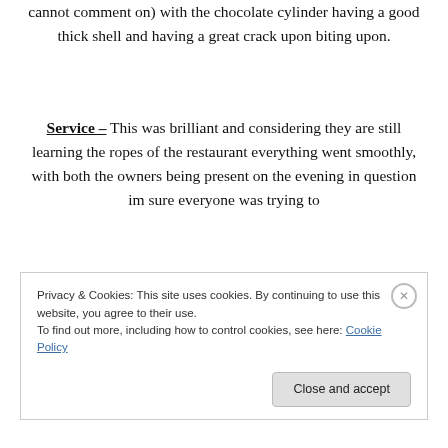cannot comment on) with the chocolate cylinder having a good thick shell and having a great crack upon biting upon.
Service – This was brilliant and considering they are still learning the ropes of the restaurant everything went smoothly, with both the owners being present on the evening in question im sure everyone was trying to
Privacy & Cookies: This site uses cookies. By continuing to use this website, you agree to their use.
To find out more, including how to control cookies, see here: Cookie Policy